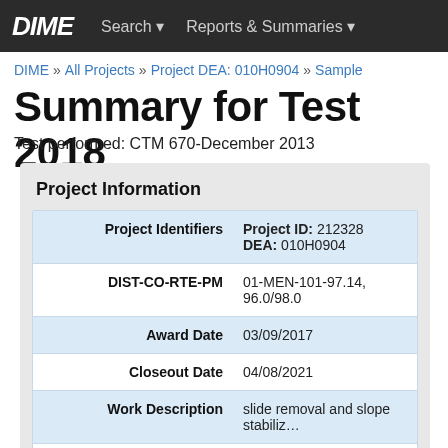DIME  Search ▾  Reports & Summaries ▾
DIME » All Projects » Project DEA: 010H0904 » Sample
Summary for Test 2018
Test performed: CTM 670-December 2013
Project Information
| Field | Value |
| --- | --- |
| Project Identifiers | Project ID: 212328
DEA: 010H0904 |
| DIST-CO-RTE-PM | 01-MEN-101-97.14, 96.0/98.0 |
| Award Date | 03/09/2017 |
| Closeout Date | 04/08/2021 |
| Work Description | slide removal and slope stabiliz… |
| Location Description | Not set |